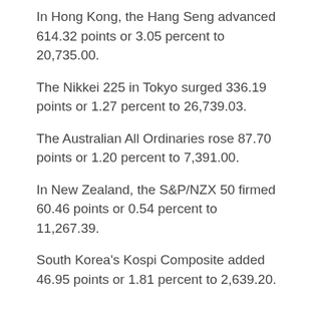In Hong Kong, the Hang Seng advanced 614.32 points or 3.05 percent to 20,735.00.
The Nikkei 225 in Tokyo surged 336.19 points or 1.27 percent to 26,739.03.
The Australian All Ordinaries rose 87.70 points or 1.20 percent to 7,391.00.
In New Zealand, the S&P/NZX 50 firmed 60.46 points or 0.54 percent to 11,267.39.
South Korea's Kospi Composite added 46.95 points or 1.81 percent to 2,639.20.